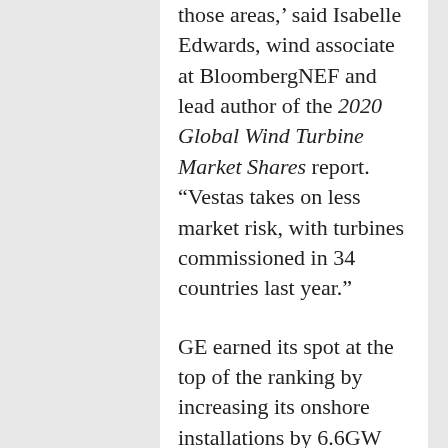those areas,' said Isabelle Edwards, wind associate at BloombergNEF and lead author of the 2020 Global Wind Turbine Market Shares report. 'Vestas takes on less market risk, with turbines commissioned in 34 countries last year.'
GE earned its spot at the top of the ranking by increasing its onshore installations by 6.6GW year-on-year, with installations in the U.S. accounting for some